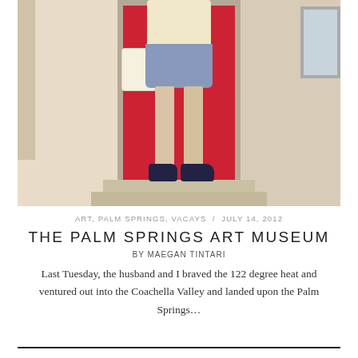[Figure (photo): Fashion blog photo showing a person from neck down wearing a cream top, blue denim shorts, and dark sneakers, standing in front of a bright red door with white stucco walls on either side. The person holds a white/cream bag. The photo has a warm, slightly vintage tone.]
ART, PALM SPRINGS, VACAYS  /  JULY 14, 2012
THE PALM SPRINGS ART MUSEUM
BY MAEGAN TINTARI
Last Tuesday, the husband and I braved the 122 degree heat and ventured out into the Coachella Valley and landed upon the Palm Springs…